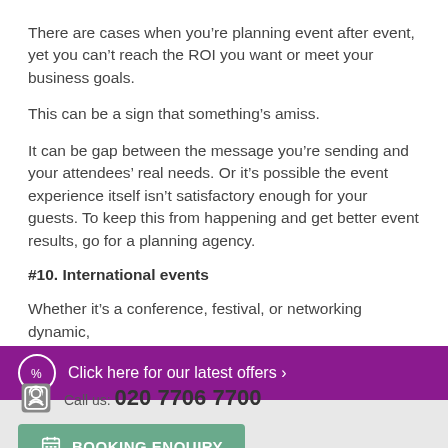There are cases when you’re planning event after event, yet you can’t reach the ROI you want or meet your business goals.
This can be a sign that something’s amiss.
It can be gap between the message you’re sending and your attendees’ real needs. Or it’s possible the event experience itself isn’t satisfactory enough for your guests. To keep this from happening and get better event results, go for a planning agency.
#10. International events
Whether it’s a conference, festival, or networking dynamic,
Click here for our latest offers ›
Call us: 020 7706 7700
BOOKING ENQUIRY